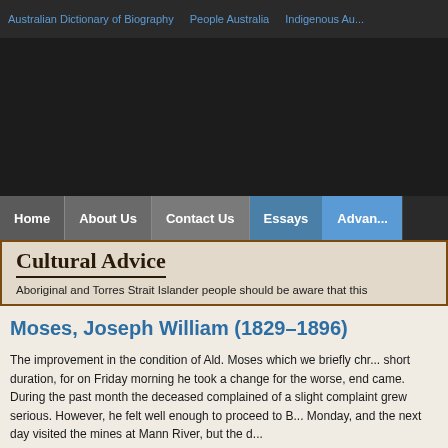Australian Dictionary of Biography   People Australia   Indigenous Au...
Home   About Us   Contact Us   Essays   Advan...
Cultural Advice
Aboriginal and Torres Strait Islander people should be aware that this
Moses, Joseph William (1829–1896)
The improvement in the condition of Ald. Moses which we briefly chr... short duration, for on Friday morning he took a change for the worse, ... end came. During the past month the deceased complained of a slight ... complaint grew serious. However, he felt well enough to proceed to B... Monday, and the next day visited the mines at Mann River, but the d...